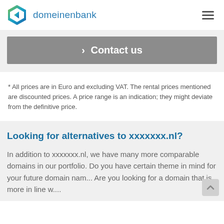domeinenbank
> Contact us
* All prices are in Euro and excluding VAT. The rental prices mentioned are discounted prices. A price range is an indication; they might deviate from the definitive price.
Looking for alternatives to xxxxxxx.nl?
In addition to xxxxxxx.nl, we have many more comparable domains in our portfolio. Do you have certain theme in mind for your future domain nam... Are you looking for a domain that is more in line w....